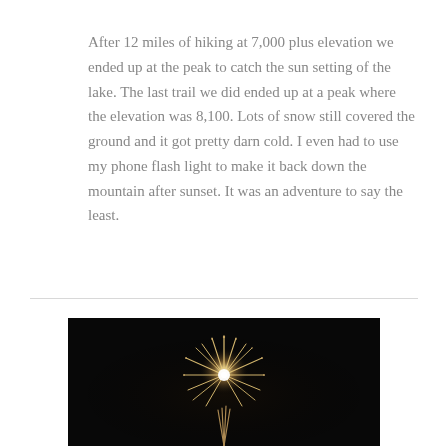After 12 miles of hiking at 7,000 plus elevation we ended up at the peak to catch the sun setting of the lake. The last trail we did ended up at a peak where the elevation was 8,100. Lots of snow still covered the ground and it got pretty darn cold. I even had to use my phone flash light to make it back down the mountain after sunset. It was an adventure to say the least.
[Figure (photo): A firework exploding against a dark night sky, showing a golden/white starburst pattern with trailing sparks, photographed with a long exposure.]